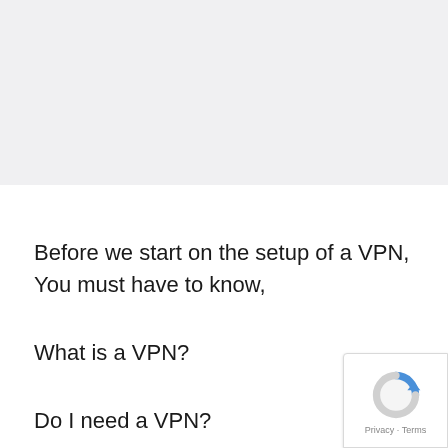[Figure (other): Gray background area at top of page, likely a banner or image placeholder]
Before we start on the setup of a VPN, You must have to know,
What is a VPN?
Do I need a VPN?
[Figure (other): Google reCAPTCHA badge widget in bottom-right corner showing recaptcha icon and Privacy · Terms text]